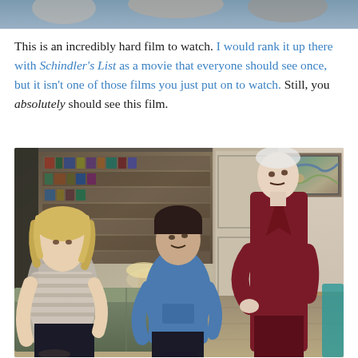[Figure (photo): Top portion of a photograph showing a scene, cropped at the top of the page]
This is an incredibly hard film to watch. I would rank it up there with Schindler's List as a movie that everyone should see once, but it isn't one of those films you just put on to watch. Still, you absolutely should see this film.
[Figure (photo): Movie still showing three people in a living room with bookshelves. A woman with wavy blonde hair sits on a sofa on the left, a younger person in a blue hoodie sits in the center, and an elderly man in a dark red/maroon robe stands on the right leaning forward.]